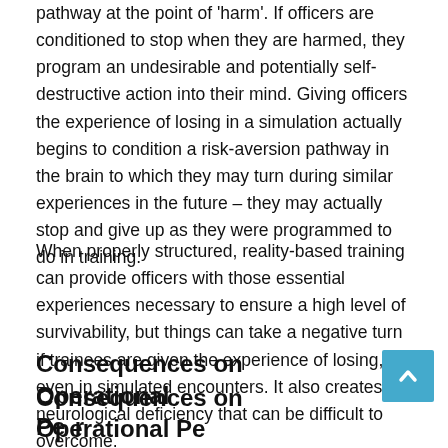pathway at the point of 'harm'. If officers are conditioned to stop when they are harmed, they program an undesirable and potentially self-destructive action into their mind. Giving officers the experience of losing in a simulation actually begins to condition a risk-aversion pathway in the brain to which they may turn during similar experiences in the future – they may actually stop and give up as they were programmed to do in training.
When properly structured, reality-based training can provide officers with those essential experiences necessary to ensure a high level of survivability, but things can take a negative turn if trainees are given the experience of losing, even in simulated encounters. It also creates neurological deficiency that can be difficult to overcome.
Consequences on Operational Performance